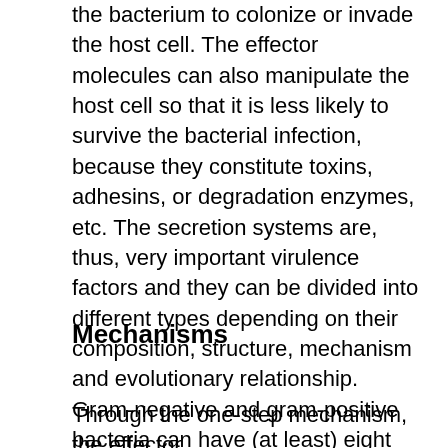the bacterium to colonize or invade the host cell. The effector molecules can also manipulate the host cell so that it is less likely to survive the bacterial infection, because they constitute toxins, adhesins, or degradation enzymes, etc. The secretion systems are, thus, very important virulence factors and they can be divided into different types depending on their composition, structure, mechanism and evolutionary relationship. Gram-negative and gram-positive bacteria can have (at least) eight and (at least) four different secretion systems, respectively, and there are two fundamentally different mechanisms (one-step and two-step mechanism).
Mechanisms
Through the one-step mechanism, the effector